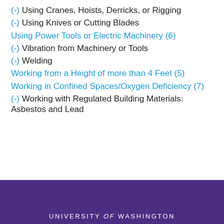(-) Using Cranes, Hoists, Derricks, or Rigging
(-) Using Knives or Cutting Blades
Using Power Tools or Electric Machinery (6)
(-) Vibration from Machinery or Tools
(-) Welding
Working from a Height of more than 4 Feet (5)
Working in Confined Spaces/Oxygen Deficiency (7)
(-) Working with Regulated Building Materials: Asbestos and Lead
UNIVERSITY of WASHINGTON